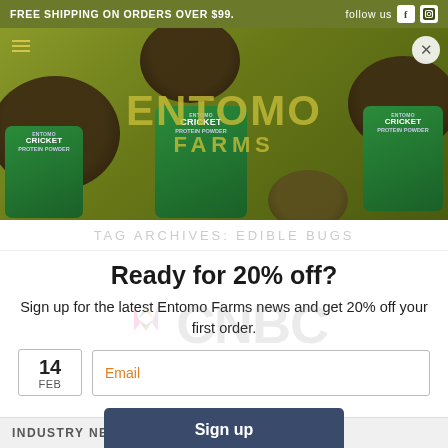FREE SHIPPING ON ORDERS OVER $99.   follow us
[Figure (screenshot): Entomo Farms website hero image showing cricket protein powder bags on olive/green background with ENTOMO FARMS logo overlay]
TAG ARCHIVES: EDIBLE BUGS
Ready for 20% off?
Sign up for the latest Entomo Farms news and get 20% off your first order.
[Figure (logo): CNBC logo watermark with peacock icon]
14 FEB
Email
Sign up
INDUSTRY NEWS